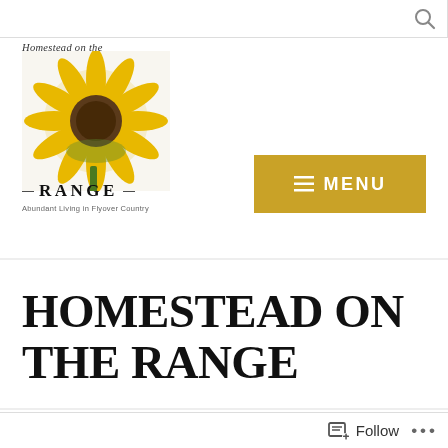[Figure (logo): Homestead on the Range logo with sunflower image, italic 'Homestead on the' text, bold 'RANGE' in caps with dashes, tagline 'Abundant Living in Flyover Country']
[Figure (screenshot): Gold/yellow MENU button with hamburger icon lines]
HOMESTEAD ON THE RANGE
[Figure (photo): Three-panel photo strip showing: boy in teal shirt, colorful knitted hat in pink/green/orange, woman in yellow cardigan with knitting]
Follow ...